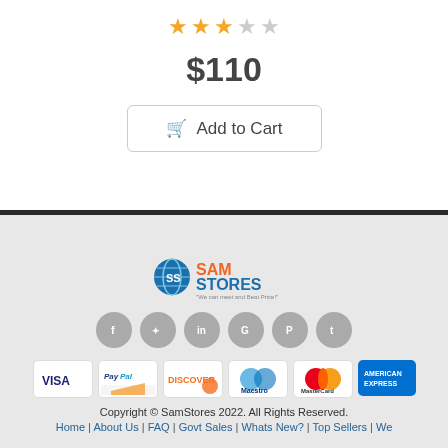[Figure (other): Star rating showing 3 out of 5 stars (3 filled yellow stars, 2 empty/grey stars)]
$110
[Figure (other): Add to Cart button with shopping cart icon]
[Figure (logo): SamStores logo with globe icon and tagline 'We can meet and Beat Price!']
[Figure (other): Social media icons: Facebook, Twitter, LinkedIn, Google, Pinterest, Tumblr]
[Figure (other): Payment method icons: VISA, PayPal, DISCOVER, Maestro, MasterCard, American Express]
Copyright © SamStores 2022. All Rights Reserved.
Home | About Us | FAQ | Govt Sales | Whats New? | Top Sellers | We